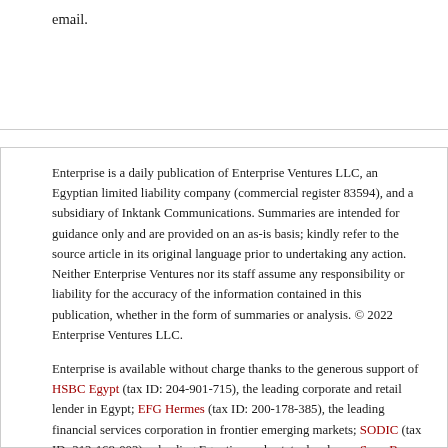email.
Enterprise is a daily publication of Enterprise Ventures LLC, an Egyptian limited liability company (commercial register 83594), and a subsidiary of Inktank Communications. Summaries are intended for guidance only and are provided on an as-is basis; kindly refer to the source article in its original language prior to undertaking any action. Neither Enterprise Ventures nor its staff assume any responsibility or liability for the accuracy of the information contained in this publication, whether in the form of summaries or analysis. © 2022 Enterprise Ventures LLC.
Enterprise is available without charge thanks to the generous support of HSBC Egypt (tax ID: 204-901-715), the leading corporate and retail lender in Egypt; EFG Hermes (tax ID: 200-178-385), the leading financial services corporation in frontier emerging markets; SODIC (tax ID: 212-168-002), a leading Egyptian real estate developer; SomaBay (tax ID: 204-093-200)